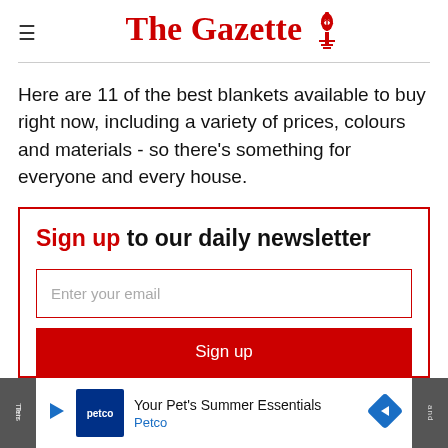The Gazette
Here are 11 of the best blankets available to buy right now, including a variety of prices, colours and materials - so there's something for everyone and every house.
Sign up to our daily newsletter
[Figure (screenshot): Newsletter sign-up box with email input field and Sign up button, red border]
[Figure (screenshot): Petco advertisement banner: Your Pet's Summer Essentials, Petco]